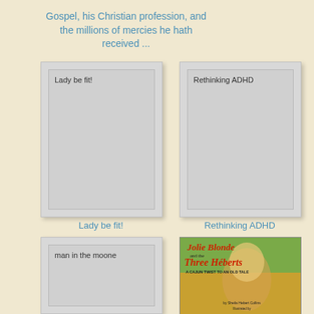Gospel, his Christian profession, and the millions of mercies he hath received ...
[Figure (illustration): Book cover placeholder for 'Lady be fit!' - grey card with text]
Lady be fit!
[Figure (illustration): Book cover placeholder for 'Rethinking ADHD' - grey card with text]
Rethinking ADHD
[Figure (illustration): Book cover placeholder for 'man in the moone' - grey card with text]
[Figure (illustration): Book cover for 'Jolie Blonde and the Three Heberts - A Cajun Twist to an Old Tale' by Sheila Hebert Collins]